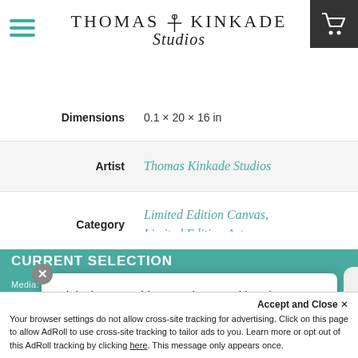Thomas Kinkade Studios
| Label | Value |
| --- | --- |
| Dimensions | 0.1 × 20 × 16 in |
| Artist | Thomas Kinkade Studios |
| Category | Limited Edition Canvas, Limited Edition Art |
| Media | Canvas |
| Media Type | Stretched Canvas |
| Edition |  |
| Size | 16" x 20", 24" x 30" |
Hi, is there anything I assist you with today?
CURRENT SELECTION
Media: CANVAS | Edition: IE | Size: 16X20 | Format:
Accept and Close ✕
Your browser settings do not allow cross-site tracking for advertising. Click on this page to allow AdRoll to use cross-site tracking to tailor ads to you. Learn more or opt out of this AdRoll tracking by clicking here. This message only appears once.